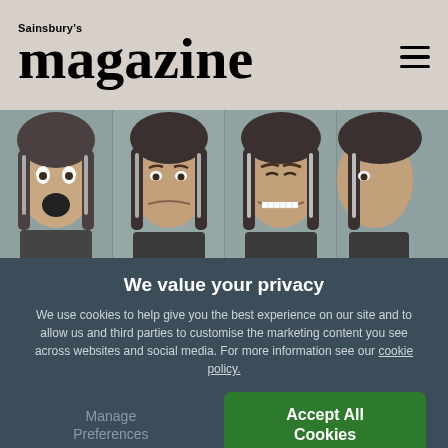Sainsbury's magazine
[Figure (photo): Four panels showing a woman with grey-streaked dark hair making different facial expressions: shocked/frightened, sad/worried, grimacing, and partially visible.]
HEALTH
Have you heard of EQ? Here's what you
We value your privacy

We use cookies to help give you the best experience on our site and to allow us and third parties to customise the marketing content you see across websites and social media. For more information see our cookie policy.

Manage Preferences | Accept All Cookies